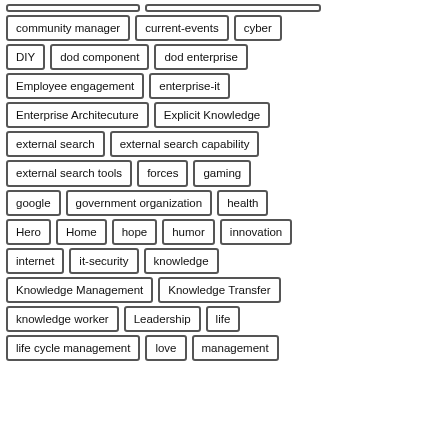community manager
current-events
cyber
DIY
dod component
dod enterprise
Employee engagement
enterprise-it
Enterprise Architecuture
Explicit Knowledge
external search
external search capability
external search tools
forces
gaming
google
government organization
health
Hero
Home
hope
humor
innovation
internet
it-security
knowledge
Knowledge Management
Knowledge Transfer
knowledge worker
Leadership
life
life cycle management
love
management